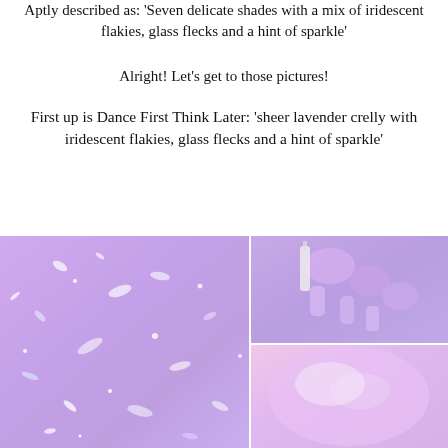Aptly described as: 'Seven delicate shades with a mix of iridescent flakies, glass flecks and a hint of sparkle'
Alright! Let's get to those pictures!
First up is Dance First Think Later: 'sheer lavender crelly with iridescent flakies, glass flecks and a hint of sparkle'
[Figure (photo): Three-panel collage showing a lavender/purple nail polish: left panel shows a close-up of the sparkly iridescent flakies texture on purple background; top-right shows a hand holding a nail polish bottle with lavender painted nails; bottom-right shows a close-up of a single nail with iridescent sheen.]